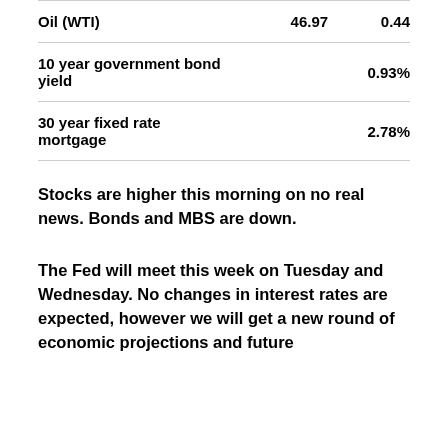|  |  |  |
| --- | --- | --- |
| Oil (WTI) | 46.97 | 0.44 |
| 10 year government bond yield |  | 0.93% |
| 30 year fixed rate mortgage |  | 2.78% |
Stocks are higher this morning on no real news. Bonds and MBS are down.
The Fed will meet this week on Tuesday and Wednesday. No changes in interest rates are expected, however we will get a new round of economic projections and future